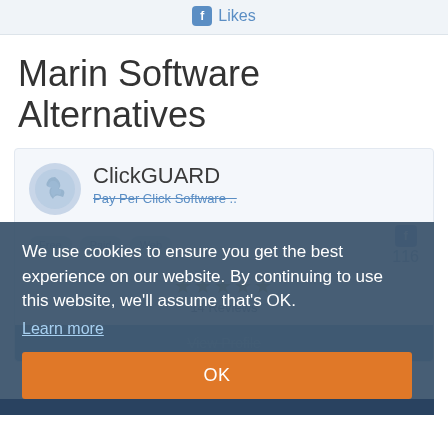Likes
Marin Software Alternatives
ClickGUARD
Pay Per Click Software ..
116
★★★★★ 14 Reviews
View Profile
We use cookies to ensure you get the best experience on our website. By continuing to use this website, we'll assume that's OK.
Learn more
OK